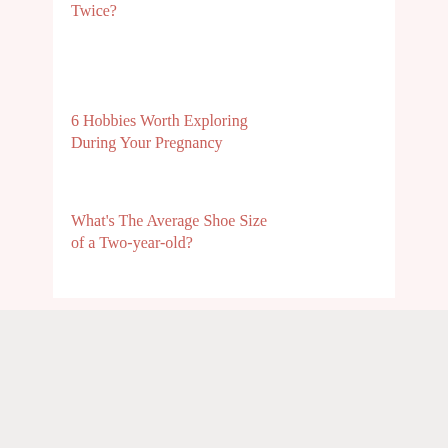Twice?
6 Hobbies Worth Exploring During Your Pregnancy
What's The Average Shoe Size of a Two-year-old?
WomanJunction.com website helps women to calculate their period and understand how their menstrual cycle works.